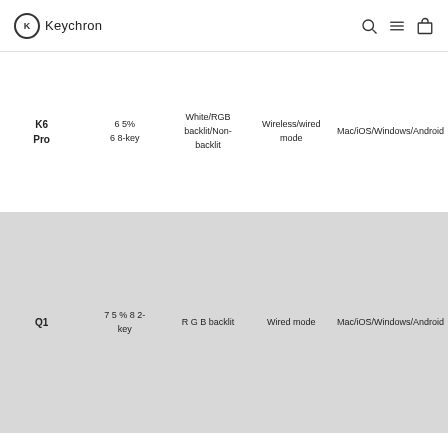Keychron
| Model | Layout | Backlight | Connectivity | Compatibility |
| --- | --- | --- | --- | --- |
| K6 Pro | 65% 68-key | White/RGB backlit/Non-backlit | Wireless/wired mode | Mac/iOS/Windows/Android |
| Q1 | 75% 82-key | RGB backlit | Wired mode | Mac/iOS/Windows/Android |